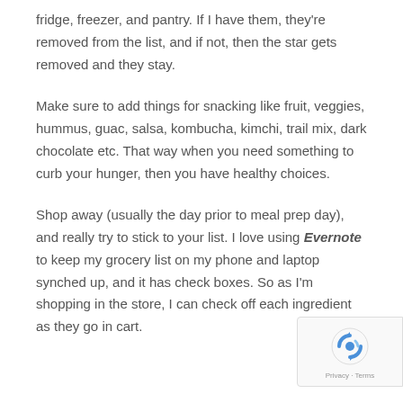fridge, freezer, and pantry. If I have them, they're removed from the list, and if not, then the star gets removed and they stay.
Make sure to add things for snacking like fruit, veggies, hummus, guac, salsa, kombucha, kimchi, trail mix, dark chocolate etc. That way when you need something to curb your hunger, then you have healthy choices.
Shop away (usually the day prior to meal prep day), and really try to stick to your list. I love using Evernote to keep my grocery list on my phone and laptop synched up, and it has check boxes. So as I'm shopping in the store, I can check off each ingredient as they go in cart.